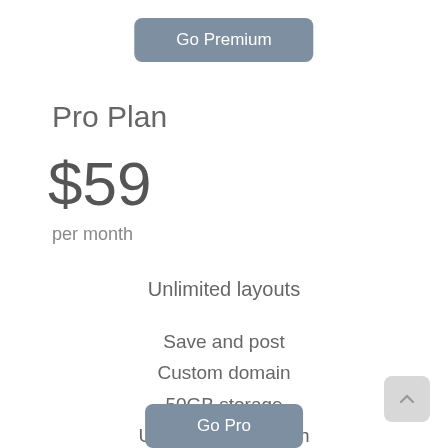Go Premium
Pro Plan
$59
per month
Unlimited layouts
Save and post
Custom domain
50GB storage
Unlimited bandwidth
250+ premium designs
Go Pro